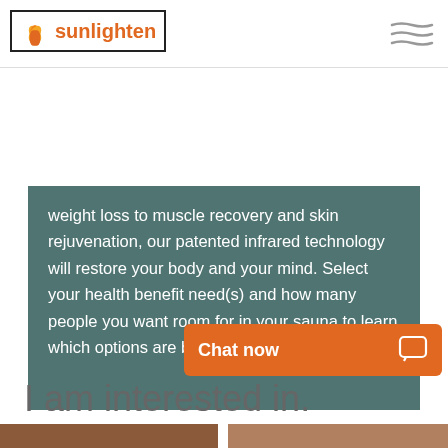[Figure (logo): Sunlighten logo with lotus flower icon and orange text in a black-bordered box]
[Figure (other): Three wavy horizontal lines (hamburger/menu icon) in gray]
weight loss to muscle recovery and skin rejuvenation, our patented infrared technology will restore your body and your mind. Select your health benefit need(s) and how many people you want room for in your sauna to learn which options are best for you.
Chat now
I am interested in.
[Figure (photo): Close-up photo of a person in warm tones, left side]
[Figure (photo): Photo of two people, right side]